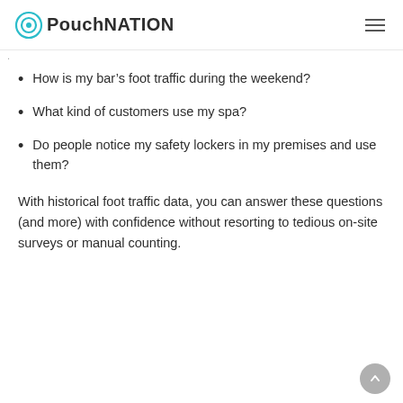PouchNATION
How is my bar's foot traffic during the weekend?
What kind of customers use my spa?
Do people notice my safety lockers in my premises and use them?
With historical foot traffic data, you can answer these questions (and more) with confidence without resorting to tedious on-site surveys or manual counting.